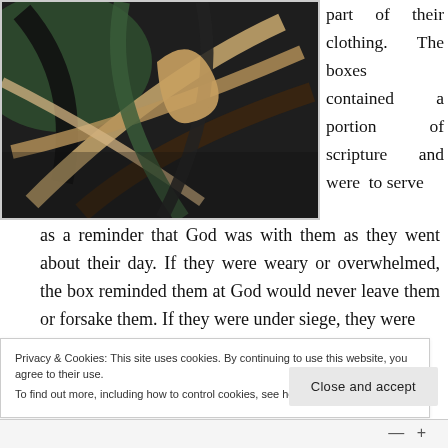[Figure (photo): Photo of tangled leather straps and belts in various colors including dark green, black, and beige, piled together]
part of their clothing. The boxes contained a portion of scripture and were to serve as a reminder that God was with them as they went about their day. If they were weary or overwhelmed, the box reminded them at God would never leave them or forsake them. If they were under siege, they were
Privacy & Cookies: This site uses cookies. By continuing to use this website, you agree to their use.
To find out more, including how to control cookies, see here: Cookie Policy
Close and accept